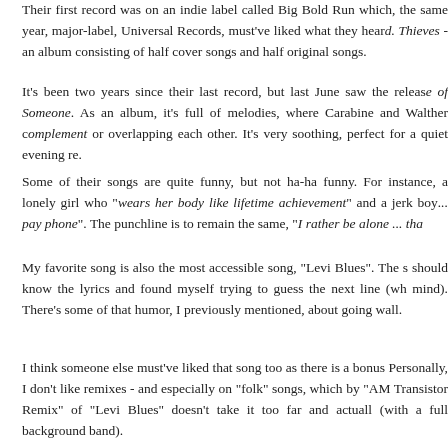Their first record was on an indie label called Big Bold Run which, the same year, major-label, Universal Records, must've liked what they heard. Thieves - an album consisting of half cover songs and half original songs.
It's been two years since their last record, but last June saw the release of Someone. As an album, it's full of melodies, where Carabine and Walther complement or overlapping each other. It's very soothing, perfect for a quiet evening re...
Some of their songs are quite funny, but not ha-ha funny. For instance, a lonely girl who "wears her body like lifetime achievement" and a jerk boy... pay phone". The punchline is to remain the same, "I rather be alone ... tha...
My favorite song is also the most accessible song, "Levi Blues". The s... should know the lyrics and found myself trying to guess the next line (wh... mind). There's some of that humor, I previously mentioned, about going... wall.
I think someone else must've liked that song too as there is a bonus... Personally, I don't like remixes - and especially on "folk" songs, which by... "AM Transistor Remix" of "Levi Blues" doesn't take it too far and actuall... (with a full background band).